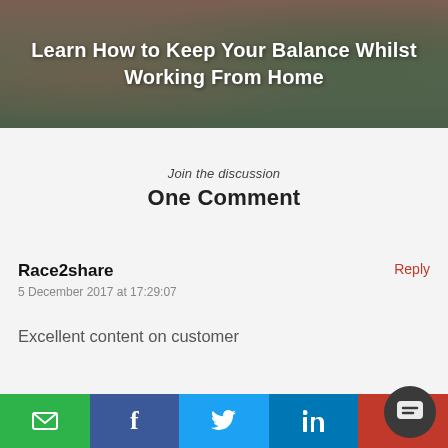[Figure (photo): Hero image of a person in a blue top with a brick wall and plants in the background, with white bold text overlay reading 'Learn How to Keep Your Balance Whilst Working From Home']
Learn How to Keep Your Balance Whilst Working From Home
Join the discussion
One Comment
Race2share
5 December 2017 at 17:29:07
Excellent content on customer
Email | Facebook | Twitter | LinkedIn | Red (share)